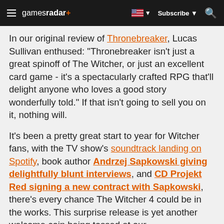gamesradar+ | Subscribe | Search
In our original review of Thronebreaker, Lucas Sullivan enthused: "Thronebreaker isn't just a great spinoff of The Witcher, or just an excellent card game - it's a spectacularly crafted RPG that'll delight anyone who loves a good story wonderfully told." If that isn't going to sell you on it, nothing will.
It's been a pretty great start to year for Witcher fans, with the TV show's soundtrack landing on Spotify, book author Andrzej Sapkowski giving delightfully blunt interviews, and CD Projekt Red signing a new contract with Sapkowski, there's every chance The Witcher 4 could be in the works. This surprise release is yet another welcome coin being tossed at our